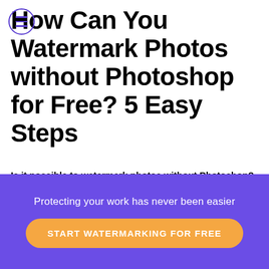How Can You Watermark Photos without Photoshop for Free? 5 Easy Steps
Is it possible to watermark photos without Photoshop?
What is a watermark and can you watermark photos without Photoshop, you ask? A watermark is an image, text, or logo that is
Protecting your work has never been easier
START WATERMARKING FOR FREE